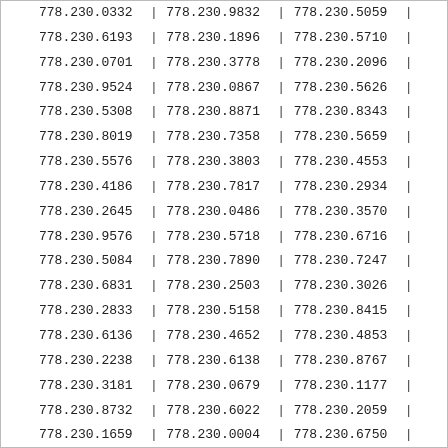| col1 | sep1 | col2 | sep2 | col3 | sep3 |
| --- | --- | --- | --- | --- | --- |
| 778.230.0332 | | | 778.230.9832 | | | 778.230.5059 | | |
| 778.230.6193 | | | 778.230.1896 | | | 778.230.5710 | | |
| 778.230.0701 | | | 778.230.3778 | | | 778.230.2096 | | |
| 778.230.9524 | | | 778.230.0867 | | | 778.230.5626 | | |
| 778.230.5308 | | | 778.230.8871 | | | 778.230.8343 | | |
| 778.230.8019 | | | 778.230.7358 | | | 778.230.5659 | | |
| 778.230.5576 | | | 778.230.3803 | | | 778.230.4553 | | |
| 778.230.4186 | | | 778.230.7817 | | | 778.230.2934 | | |
| 778.230.2645 | | | 778.230.0486 | | | 778.230.3570 | | |
| 778.230.9576 | | | 778.230.5718 | | | 778.230.6716 | | |
| 778.230.5084 | | | 778.230.7890 | | | 778.230.7247 | | |
| 778.230.6831 | | | 778.230.2503 | | | 778.230.3026 | | |
| 778.230.2833 | | | 778.230.5158 | | | 778.230.8415 | | |
| 778.230.6136 | | | 778.230.4652 | | | 778.230.4853 | | |
| 778.230.2238 | | | 778.230.6138 | | | 778.230.8767 | | |
| 778.230.3181 | | | 778.230.0679 | | | 778.230.1177 | | |
| 778.230.8732 | | | 778.230.6022 | | | 778.230.2059 | | |
| 778.230.1659 | | | 778.230.0004 | | | 778.230.6750 | | |
| 778.230.0033 | | | 778.230.2899 | | | 778.230.2013 | | |